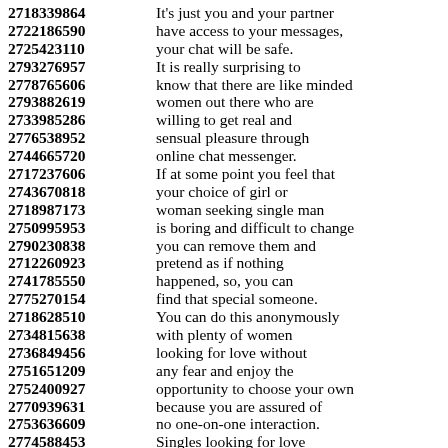2718339864 It's just you and your partner 2722186590 have access to your messages, 2725423110 your chat will be safe. 2793276957 It is really surprising to 2778765606 know that there are like minded 2793882619 women out there who are 2733985286 willing to get real and 2776538952 sensual pleasure through 2744665720 online chat messenger. 2717237606 If at some point you feel that 2743670818 your choice of girl or 2718987173 woman seeking single man 2750995953 is boring and difficult to change 2790230838 you can remove them and 2712260923 pretend as if nothing 2741785550 happened, so, you can 2775270154 find that special someone. 2718628510 You can do this anonymously 2734815638 with plenty of women 2736849456 looking for love without 2751651209 any fear and enjoy the 2752400927 opportunity to choose your own 2770939631 because you are assured of 2753636609 no one-on-one interaction. 2774588453 Singles looking for love 2704504275 have different and diff...